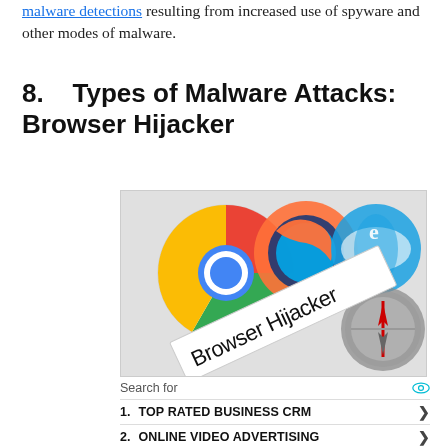malware detections resulting from increased use of spyware and other modes of malware.
8.   Types of Malware Attacks: Browser Hijacker
[Figure (photo): Image showing browser logos (Chrome, Firefox, Internet Explorer, Safari) with a 'Browser Hijacker' banner overlaid on them.]
Search for
1.  TOP RATED BUSINESS CRM
2.  ONLINE VIDEO ADVERTISING
Yahoo! Search | Sponsored